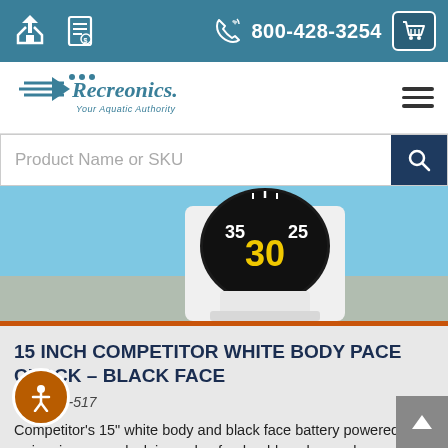800-428-3254
[Figure (logo): Recreonics logo - Your Aquatic Authority]
Product Name or SKU
[Figure (photo): 15 inch competitor white body pace clock with black face showing number 30 in yellow, poolside]
15 INCH COMPETITOR WHITE BODY PACE CLOCK – BLACK FACE
Item #92-517
Competitor's 15" white body and black face battery powered swimming pace clock is made of a durable polypropylene casing with [...]